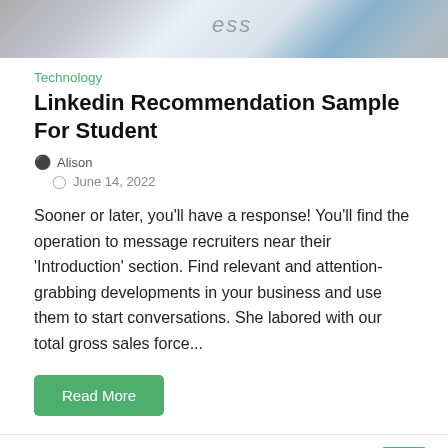[Figure (photo): Cropped top portion of a header image showing a magnifying glass, documents, and business-related elements with text 'ess' visible]
Technology
Linkedin Recommendation Sample For Student
Alison
June 14, 2022
Sooner or later, you'll have a response! You'll find the operation to message recruiters near their 'Introduction' section. Find relevant and attention-grabbing developments in your business and use them to start conversations. She labored with our total gross sales force...
Read More